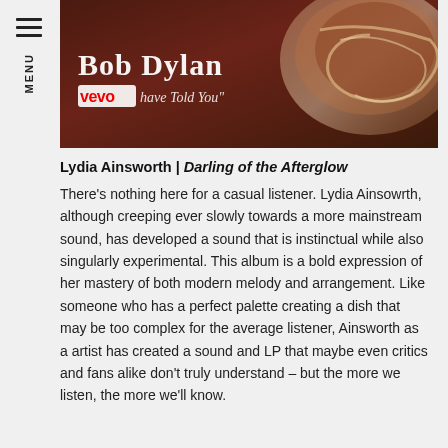[Figure (screenshot): Bob Dylan Vevo music video thumbnail with dark reddish-brown background showing a bowl or curved surface, overlaid with 'Bob Dylan' in Gothic font and 'vevo' logo with partial text 'have Told You']
Lydia Ainsworth | Darling of the Afterglow
There's nothing here for a casual listener. Lydia Ainsowrth, although creeping ever slowly towards a more mainstream sound, has developed a sound that is instinctual while also singularly experimental. This album is a bold expression of her mastery of both modern melody and arrangement. Like someone who has a perfect palette creating a dish that may be too complex for the average listener, Ainsworth as a artist has created a sound and LP that maybe even critics and fans alike don't truly understand – but the more we listen, the more we'll know.